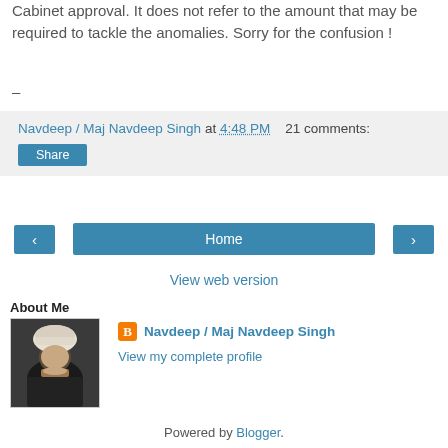Cabinet approval. It does not refer to the amount that may be required to tackle the anomalies. Sorry for the confusion !
-
Navdeep / Maj Navdeep Singh at 4:48 PM   21 comments:
Share
‹  Home  ›
View web version
About Me
[Figure (photo): Profile photo of Navdeep / Maj Navdeep Singh, a man wearing a white turban and dark clothing]
Navdeep / Maj Navdeep Singh
View my complete profile
Powered by Blogger.